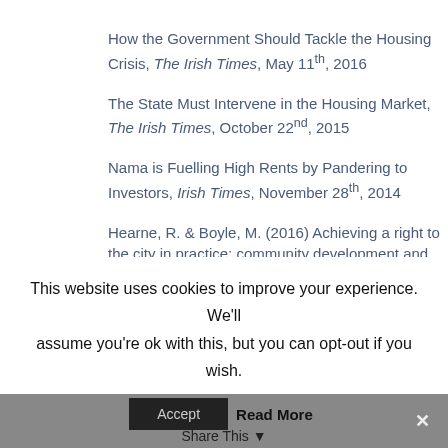How the Government Should Tackle the Housing Crisis, The Irish Times, May 11th, 2016
The State Must Intervene in the Housing Market, The Irish Times, October 22nd, 2015
Nama is Fuelling High Rents by Pandering to Investors, Irish Times, November 28th, 2014
Hearne, R. & Boyle, M. (2016) Achieving a right to the city in practice: community development and human rights approaches in Dublin's inner city
This website uses cookies to improve your experience. We'll assume you're ok with this, but you can opt-out if you wish.
Accept  Read More  Share This  ×